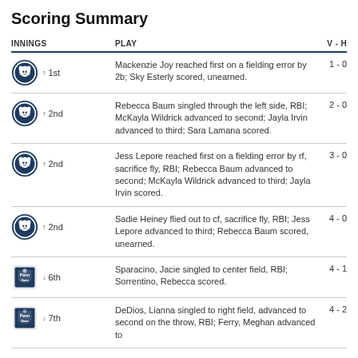Scoring Summary
| INNINGS | PLAY | V - H |
| --- | --- | --- |
| ↑ 1st | Mackenzie Joy reached first on a fielding error by 2b; Sky Esterly scored, unearned. | 1 - 0 |
| ↑ 2nd | Rebecca Baum singled through the left side, RBI; McKayla Wildrick advanced to second; Jayla Irvin advanced to third; Sara Lamana scored. | 2 - 0 |
| ↑ 2nd | Jess Lepore reached first on a fielding error by rf, sacrifice fly, RBI; Rebecca Baum advanced to second; McKayla Wildrick advanced to third; Jayla Irvin scored. | 3 - 0 |
| ↑ 2nd | Sadie Heiney flied out to cf, sacrifice fly, RBI; Jess Lepore advanced to third; Rebecca Baum scored, unearned. | 4 - 0 |
| ↓ 6th | Sparacino, Jacie singled to center field, RBI; Sorrentino, Rebecca scored. | 4 - 1 |
| ↓ 7th | DeDios, Lianna singled to right field, advanced to second on the throw, RBI; Ferry, Meghan advanced to | 4 - 2 |